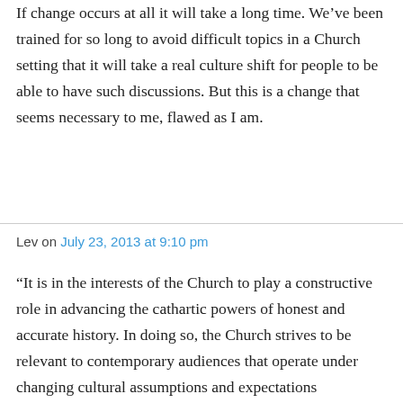If change occurs at all it will take a long time. We've been trained for so long to avoid difficult topics in a Church setting that it will take a real culture shift for people to be able to have such discussions. But this is a change that seems necessary to me, flawed as I am.
Lev on July 23, 2013 at 9:10 pm
“It is in the interests of the Church to play a constructive role in advancing the cathartic powers of honest and accurate history. In doing so, the Church strives to be relevant to contemporary audiences that operate under changing cultural assumptions and expectations